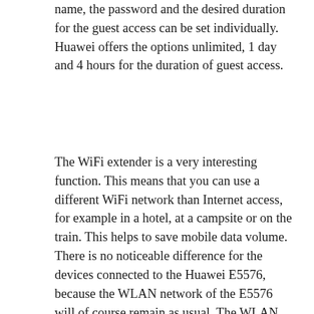name, the password and the desired duration for the guest access can be set individually. Huawei offers the options unlimited, 1 day and 4 hours for the duration of guest access.
The WiFi extender is a very interesting function. This means that you can use a different WiFi network than Internet access, for example in a hotel, at a campsite or on the train. This helps to save mobile data volume. There is no noticeable difference for the devices connected to the Huawei E5576, because the WLAN network of the E5576 will of course remain as usual. The WLAN extender is configured either via the web interface or via an app.